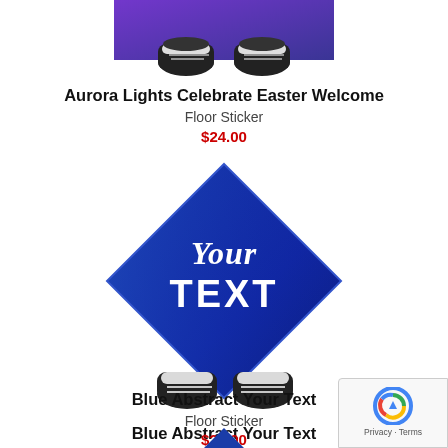[Figure (photo): Top portion of Aurora Lights Celebrate Easter Welcome floor sticker product image — shows a diamond-shaped sticker with two sneakers on it, cut off at top]
Aurora Lights Celebrate Easter Welcome
Floor Sticker
$24.00
[Figure (photo): Blue Abstract Your Text floor sticker product image — shows a diamond-shaped blue abstract sticker with 'Your TEXT' text and two sneakers]
Blue Abstract Your Text
Floor Sticker
$24.00
[Figure (photo): Partial view of a third floor sticker product at bottom of page — only top tip visible]